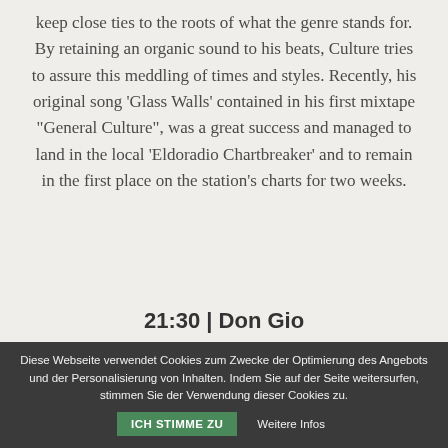keep close ties to the roots of what the genre stands for. By retaining an organic sound to his beats, Culture tries to assure this meddling of times and styles. Recently, his original song 'Glass Walls' contained in his first mixtape "General Culture", was a great success and managed to land in the local 'Eldoradio Chartbreaker' and to remain in the first place on the station's charts for two weeks.
21:30 | Don Gio
Diese Webseite verwendet Cookies zum Zwecke der Optimierung des Angebots und der Personalisierung von Inhalten. Indem Sie auf der Seite weitersurfen, stimmen Sie der Verwendung dieser Cookies zu.